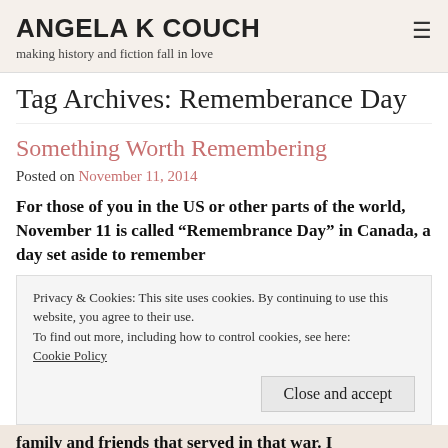ANGELA K COUCH
making history and fiction fall in love
Tag Archives: Rememberance Day
Something Worth Remembering
Posted on November 11, 2014
For those of you in the US or other parts of the world, November 11 is called “Remembrance Day” in Canada, a day set aside to remember
Privacy & Cookies: This site uses cookies. By continuing to use this website, you agree to their use.
To find out more, including how to control cookies, see here:
Cookie Policy
Close and accept
family and friends that served in that war. I